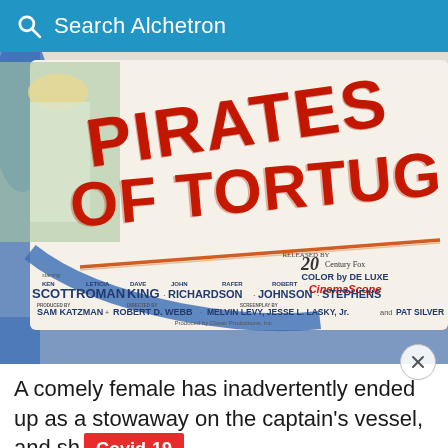Search Alchetron
[Figure (photo): Movie poster for 'Pirates of Tortuga' showing large red stylized text title, with cast credits: Ken Scott, Leticia Roman, Dave King, John Richardson, Rafer Johnson, Robert Stephens. Color by De Luxe CinemaScope. Released by 20th Century Fox. Produced by Sam Katzman, Directed by Robert D. Webb, Screenplay by Melvin Levy, Jesse L. Lasky Jr. and Pat Silver. Produced by Clover Productions, Inc.]
A comely female has inadvertently ended up as a stowaway on the captain's vessel, and sh...